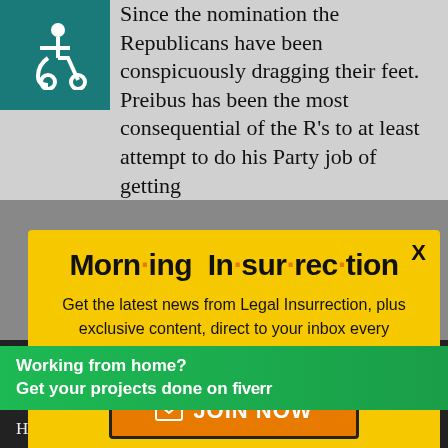Since the nomination the Republicans have been conspicuously dragging their feet. Preibus has been the most consequential of the R's to at least attempt to do his Party job of getting
[Figure (other): Wheelchair accessibility icon — white stick figure in wheelchair on teal/dark green background]
as does the possibility that the
[Figure (infographic): Morning Insurrection newsletter modal popup with yellow background. Title reads 'Morn·ing In·sur·rec·tion' with orange bullet separators. Body text: 'Get the latest news from Legal Insurrection, plus exclusive content, direct to your inbox every morning. Subscribe today – it's free!' Orange JOIN NOW button with envelope icon.]
Working from home?
Get your projects done on fiverr
Hillary bakes Dem corruption